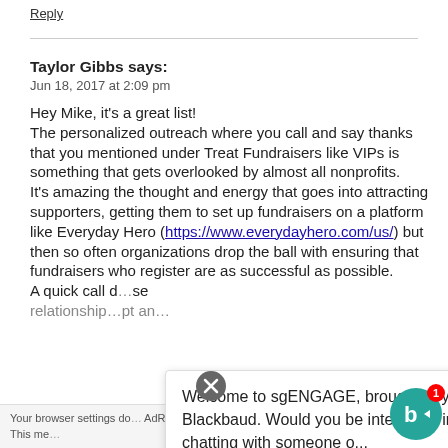Reply
Taylor Gibbs says:
Jun 18, 2017 at 2:09 pm

Hey Mike, it’s a great list!
The personalized outreach where you call and say thanks that you mentioned under Treat Fundraisers like VIPs is something that gets overlooked by almost all nonprofits.
It’s amazing the thought and energy that goes into attracting supporters, getting them to set up fundraisers on a platform like Everyday Hero (https://www.everydayhero.com/us/) but then so often organizations drop the ball with ensuring that fundraisers who register are as successful as possible.
A quick call d... se relationship... pt an...
Welcome to sgENGAGE, brought to you by Blackbaud. Would you be interested in chatting with someone o...
Your browser settings do not allow cross-site tracking. AdRoll use cross-site t... is p... Ad... g by clicking here. This me...